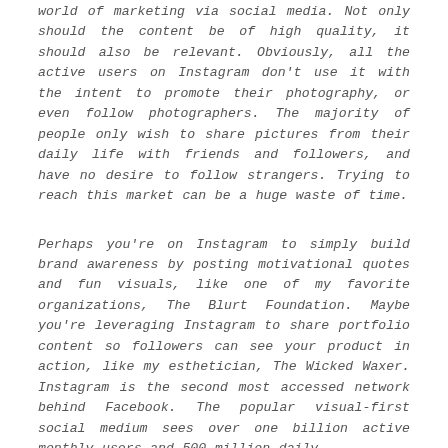world of marketing via social media. Not only should the content be of high quality, it should also be relevant. Obviously, all the active users on Instagram don't use it with the intent to promote their photography, or even follow photographers. The majority of people only wish to share pictures from their daily life with friends and followers, and have no desire to follow strangers. Trying to reach this market can be a huge waste of time.
Perhaps you're on Instagram to simply build brand awareness by posting motivational quotes and fun visuals, like one of my favorite organizations, The Blurt Foundation. Maybe you're leveraging Instagram to share portfolio content so followers can see your product in action, like my esthetician, The Wicked Waxer. Instagram is the second most accessed network behind Facebook. The popular visual-first social medium sees over one billion active monthly users and 500 million daily